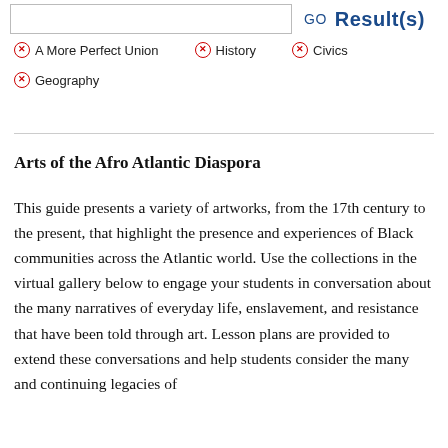GO  Result(s)
× A More Perfect Union
× History
× Civics
× Geography
Arts of the Afro Atlantic Diaspora
This guide presents a variety of artworks, from the 17th century to the present, that highlight the presence and experiences of Black communities across the Atlantic world. Use the collections in the virtual gallery below to engage your students in conversation about the many narratives of everyday life, enslavement, and resistance that have been told through art. Lesson plans are provided to extend these conversations and help students consider the many and continuing legacies of